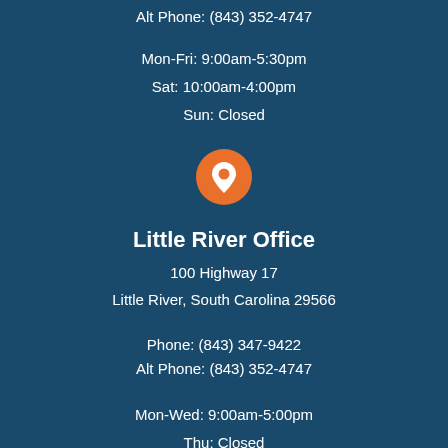Alt Phone: (843) 352-4747
Mon-Fri: 9:00am-5:30pm
Sat: 10:00am-4:00pm
Sun: Closed
[Figure (illustration): Orange circular location pin icon with white map marker symbol]
Little River Office
100 Highway 17
Little River, South Carolina 29566
Phone: (843) 347-9422
Alt Phone: (843) 352-4747
Mon-Wed: 9:00am-5:00pm
Thu: Closed